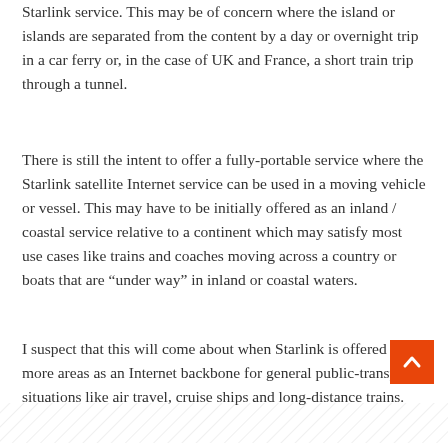Starlink service. This may be of concern where the island or islands are separated from the content by a day or overnight trip in a car ferry or, in the case of UK and France, a short train trip through a tunnel.
There is still the intent to offer a fully-portable service where the Starlink satellite Internet service can be used in a moving vehicle or vessel. This may have to be initially offered as an inland / coastal service relative to a continent which may satisfy most use cases like trains and coaches moving across a country or boats that are “under way” in inland or coastal waters.
I suspect that this will come about when Starlink is offered in more areas as an Internet backbone for general public-transport situations like air travel, cruise ships and long-distance trains.